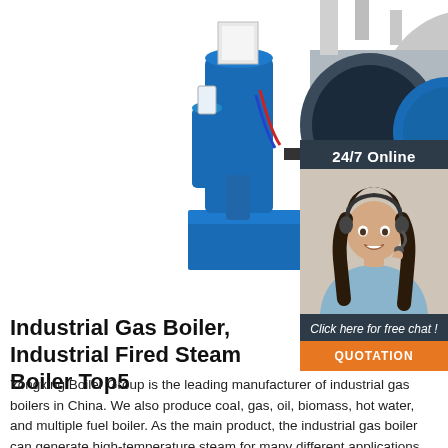[Figure (photo): Industrial gas boiler machine on a blue platform with an orange burner, pipes, and tanks, photographed against white background]
[Figure (photo): Sidebar with '24/7 Online' header, photo of a smiling female customer service representative wearing a headset, 'Click here for free chat!' text, and an orange QUOTATION button]
Industrial Gas Boiler, Industrial Fired Steam Boiler Top5
Yongxing Boiler Group is the leading manufacturer of industrial gas boilers in China. We also produce coal, gas, oil, biomass, hot water, and multiple fuel boiler. As the main product, the industrial gas boiler can generate high-temperature steam for many different applications.